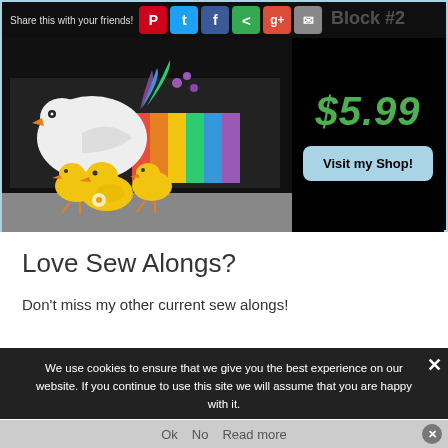[Figure (screenshot): Website screenshot showing a quilt pattern banner with social share buttons (Pinterest, Twitter, Facebook, Share, Google+, Email), a quilt block image with a hen and chicks applique design, price of $5.99 in green, and a 'Visit my Shop!' button on black background]
Love Sew Alongs?
Don't miss my other current sew alongs!
We use cookies to ensure that we give you the best experience on our website. If you continue to use this site we will assume that you are happy with it.
Ok   No   Read more